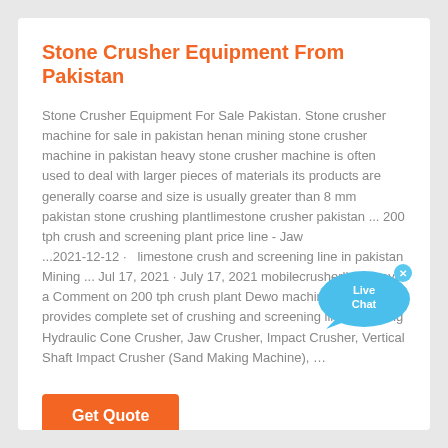Stone Crusher Equipment From Pakistan
Stone Crusher Equipment For Sale Pakistan. Stone crusher machine for sale in pakistan henan mining stone crusher machine in pakistan heavy stone crusher machine is often used to deal with larger pieces of materials its products are generally coarse and size is usually greater than 8 mm pakistan stone crushing plantlimestone crusher pakistan ... 200 tph crush and screening plant price line - Jaw ...2021-12-12 ·  limestone crush and screening line in pakistan Mining ... Jul 17, 2021 · July 17, 2021 mobilecrusherline Leave a Comment on 200 tph crush plant Dewo machinery can provides complete set of crushing and screening line, including Hydraulic Cone Crusher, Jaw Crusher, Impact Crusher, Vertical Shaft Impact Crusher (Sand Making Machine), …
[Figure (illustration): Live Chat bubble icon with text 'Live Chat' in blue speech bubble]
Get Quote